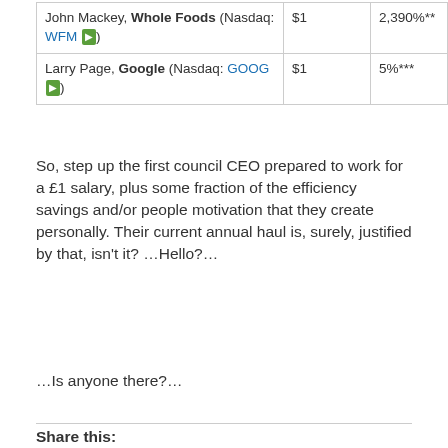|  | Salary | % Change |
| --- | --- | --- |
| John Mackey, Whole Foods (Nasdaq: WFM) | $1 | 2,390%** |
| Larry Page, Google (Nasdaq: GOOG) | $1 | 5%*** |
So, step up the first council CEO prepared to work for a £1 salary, plus some fraction of the efficiency savings and/or people motivation that they create personally. Their current annual haul is, surely, justified by that, isn't it? …Hello?…
…Is anyone there?…
Share this: